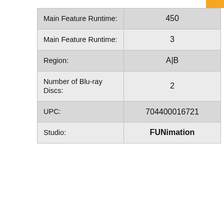| Field | Value |
| --- | --- |
| Main Feature Runtime: | 450 |
| Main Feature Runtime: | 3 |
| Region: | A|B |
| Number of Blu-ray Discs: | 2 |
| UPC: | 704400016721 |
| Studio: | FUNimation |
Special Features
Our site uses cookies and other technologies to run this site, improve its operation and to deliver ads and other marketing materials to you. To learn more about how we use cookies, please see our Privacy Policy. To manage the cookies to use with you, please click here.